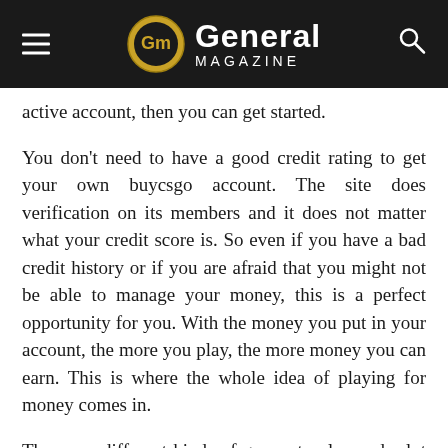General MAGAZINE
active account, then you can get started.
You don't need to have a good credit rating to get your own buycsgo account. The site does verification on its members and it does not matter what your credit score is. So even if you have a bad credit history or if you are afraid that you might not be able to manage your money, this is a perfect opportunity for you. With the money you put in your account, the more you play, the more money you can earn. This is where the whole idea of playing for money comes in.
There are different kinds of games to play and a lot of them have a cash prize to be won. If you are playing for money, then you can get items that can be used in the game to get you started. There are so many things that you can do with the money that you win. Even if you are not that good at the